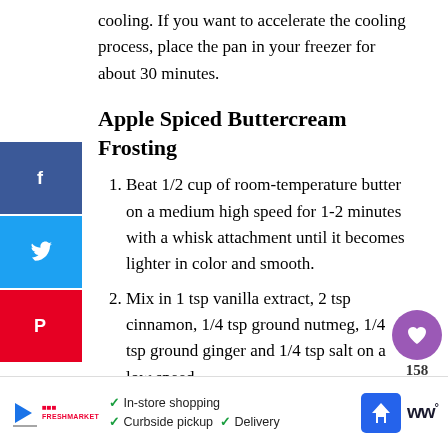cooling. If you want to accelerate the cooling process, place the pan in your freezer for about 30 minutes.
Apple Spiced Buttercream Frosting
Beat 1/2 cup of room-temperature butter on a medium high speed for 1-2 minutes with a whisk attachment until it becomes lighter in color and smooth.
Mix in 1 tsp vanilla extract, 2 tsp cinnamon, 1/4 tsp ground nutmeg, 1/4 tsp ground ginger and 1/4 tsp salt on a low speed.
Slowly add in 1 1/2 cups of powdered sugar, 1/2 cup at a time. Half way through add 1 Tbsp of apple cider to make the frosting easier to mix.
Mix on low for a couple minutes until the
[Figure (other): Social media share buttons: Facebook (blue), Twitter (light blue), Pinterest (red) on left sidebar]
[Figure (other): Heart/like button (purple circle) with count 158, and share icon below]
[Figure (other): What's Next promo banner with Apple Cider Donut Cake]
[Figure (other): Advertisement banner for in-store shopping, curbside pickup, and delivery]